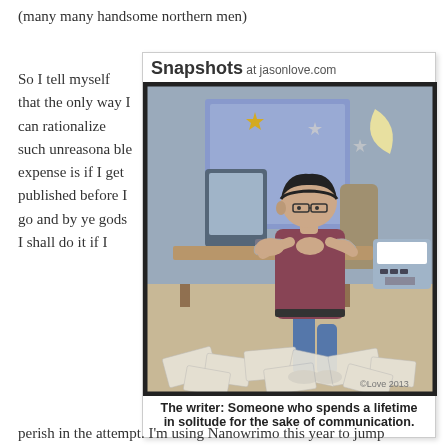(many many handsome northern men)
So I tell myself that the only way I can rationalize such unreasonable expense is if I get published before I go and by ye gods I shall do it if I
[Figure (illustration): Snapshots at jasonlove.com comic strip showing a man typing at a computer late at night surrounded by crumpled papers on the floor, with a moon and stars visible through the window]
The writer: Someone who spends a lifetime in solitude for the sake of communication.
perish in the attempt. I'm using Nanowrimo this year to jump